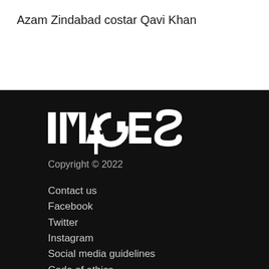Azam Zindabad costar Qavi Khan
[Figure (logo): IMAGES logo in white text with stylized design on dark background]
Copyright © 2022
Contact us
Facebook
Twitter
Instagram
Social media guidelines
Code of ethics
Terms of use
Contribution guidelines